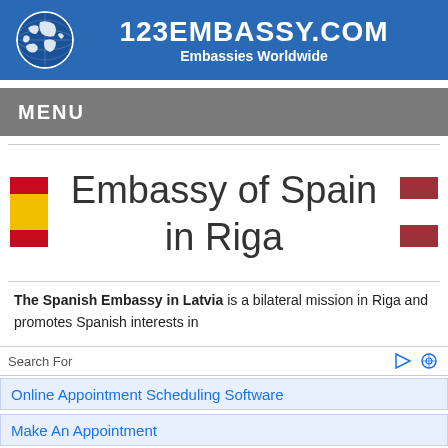123EMBASSY.COM Embassies Worldwide
MENU
Embassy of Spain in Riga
The Spanish Embassy in Latvia is a bilateral mission in Riga and promotes Spanish interests in
Search For
Online Appointment Scheduling Software
Make An Appointment